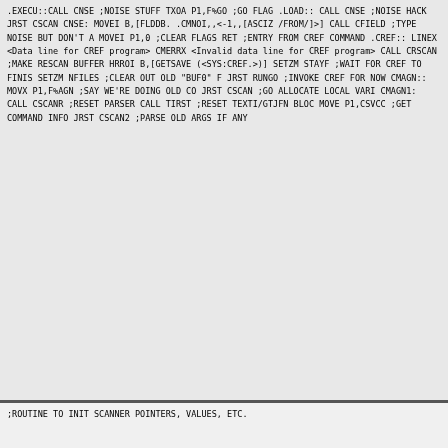.EXECU::CALL    CNSE           ;NOISE STUFF
        TXOA    P1,F%GO        ;GO FLAG
.LOAD:: CALL    CNSE           ;NOISE HACK
        JRST    CSCAN

CNSE:   MOVEI B,[FLDDB. .CMNOI,,<-1,,[ASCIZ /FROM/]>]
        CALL CFIELD              ;TYPE NOISE BUT DON'T A
        MOVEI P1,0               ;CLEAR FLAGS
        RET

;ENTRY FROM CREF COMMAND

.CREF:: LINEX <Data line for CREF program>
         CMERRX <Invalid data line for CREF program>
        CALL CRSCAN              ;MAKE RESCAN BUFFER
        HRROI B,[GETSAVE (<SYS:CREF.>)]
        SETZM STAYF              ;WAIT FOR CREF TO FINIS
        SETZM NFILES             ;CLEAR OUT OLD "BUF0" F
        JRST RUNGO               ;INVOKE CREF FOR NOW

CMAGN:: MOVX P1,F%AGN           ;SAY WE'RE DOING OLD CO
        JRST CSCAN               ;GO ALLOCATE LOCAL VARI

CMAGN1: CALL CSCANR              ;RESET PARSER
        CALL TIRST               ;RESET TEXTI/GTJFN BLOC
        MOVE P1,CSVCC            ;GET COMMAND INFO
        JRST CSCAN2              ;PARSE OLD ARGS IF ANY
;ROUTINE TO INIT SCANNER POINTERS, VALUES, ETC.